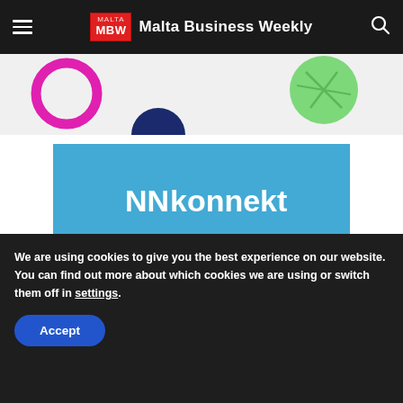Malta Business Weekly
[Figure (illustration): Decorative banner strip with colorful geometric shapes including a magenta ring, dark navy semicircle, and green textured circle on a light grey background]
[Figure (logo): Konnekt job platform advertisement - blue panel with NN Konnekt logo and 'Looking for a job?' tagline in white italic text, with decorative chevron cutout at bottom]
We are using cookies to give you the best experience on our website.
You can find out more about which cookies we are using or switch them off in settings.
Accept